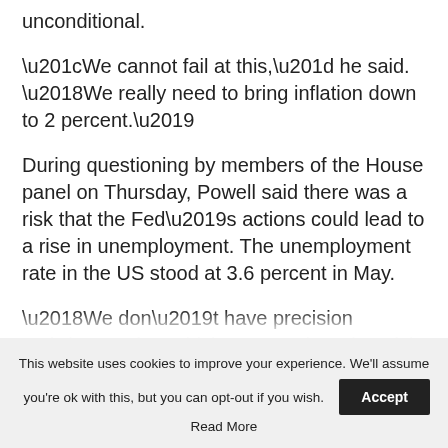unconditional.
“We cannot fail at this,” he said. ‘We really need to bring inflation down to 2 percent.’
During questioning by members of the House panel on Thursday, Powell said there was a risk that the Fed’s actions could lead to a rise in unemployment. The unemployment rate in the US stood at 3.6 percent in May.
‘We don’t have precision tools,’ he said, ‘so there is a risk that unemployment will rise, although
This website uses cookies to improve your experience. We’ll assume you’re ok with this, but you can opt-out if you wish. Accept Read More